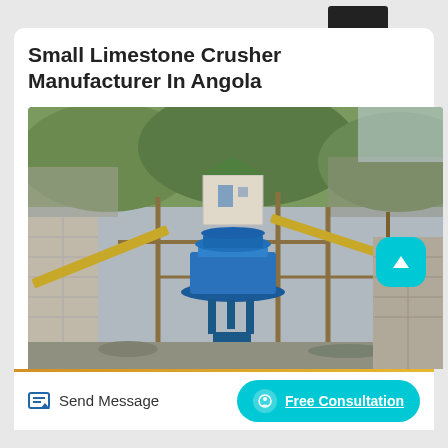Small Limestone Crusher Manufacturer In Angola
[Figure (photo): Outdoor limestone crusher / quarry processing plant with blue cone crusher machine, conveyor belts, metal framework, rock walls, and mountainous terrain with vegetation in background]
Send Message
Free Consultation